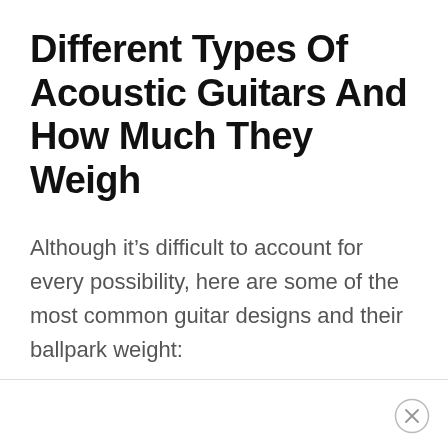Different Types Of Acoustic Guitars And How Much They Weigh
Although it’s difficult to account for every possibility, here are some of the most common guitar designs and their ballpark weight: